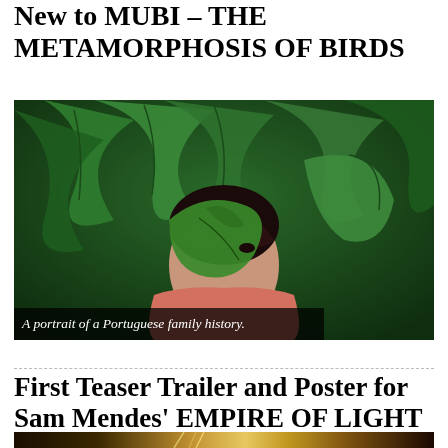New to MUBI – THE METAMORPHOSIS OF BIRDS
[Figure (photo): A person lying among large green leaves, wearing a pink top, partially obscured by foliage. A caption overlay reads: A portrait of a Portuguese family history.]
A portrait of a Portuguese family history.
First Teaser Trailer and Poster for Sam Mendes' EMPIRE OF LIGHT
[Figure (photo): Bottom portion of a movie image with dark and golden tones, partially visible.]